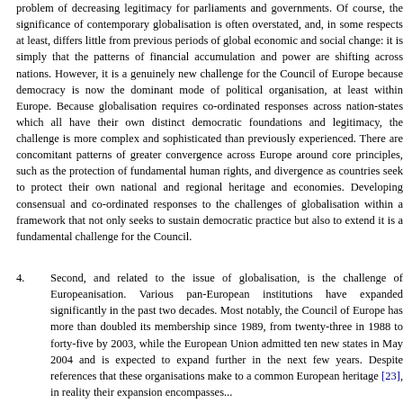problem of decreasing legitimacy for parliaments and governments. Of course, the significance of contemporary globalisation is often overstated, and, in some respects at least, differs little from previous periods of global economic and social change: it is simply that the patterns of financial accumulation and power are shifting across nations. However, it is a genuinely new challenge for the Council of Europe because democracy is now the dominant mode of political organisation, at least within Europe. Because globalisation requires co-ordinated responses across nation-states which all have their own distinct democratic foundations and legitimacy, the challenge is more complex and sophisticated than previously experienced. There are concomitant patterns of greater convergence across Europe around core principles, such as the protection of fundamental human rights, and divergence as countries seek to protect their own national and regional heritage and economies. Developing consensual and co-ordinated responses to the challenges of globalisation within a framework that not only seeks to sustain democratic practice but also to extend it is a fundamental challenge for the Council.
4. Second, and related to the issue of globalisation, is the challenge of Europeanisation. Various pan-European institutions have expanded significantly in the past two decades. Most notably, the Council of Europe has more than doubled its membership since 1989, from twenty-three in 1988 to forty-five by 2003, while the European Union admitted ten new states in May 2004 and is expected to expand further in the next few years. Despite references that these organisations make to a common European heritage [23], in reality their expansion encompasses...